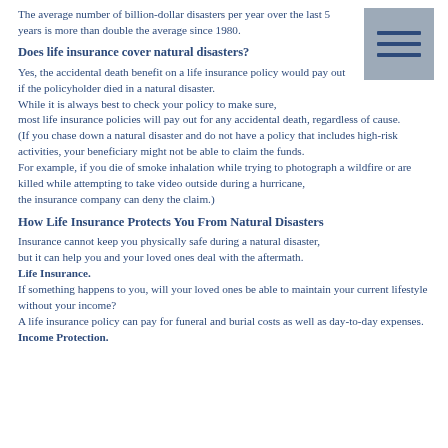The average number of billion-dollar disasters per year over the last 5 years is more than double the average since 1980.
[Figure (illustration): Gray menu/hamburger icon with three horizontal dark blue lines on a gray background square]
Does life insurance cover natural disasters?
Yes, the accidental death benefit on a life insurance policy would pay out if the policyholder died in a natural disaster.
While it is always best to check your policy to make sure,
most life insurance policies will pay out for any accidental death, regardless of cause.
(If you chase down a natural disaster and do not have a policy that includes high-risk activities, your beneficiary might not be able to claim the funds.
For example, if you die of smoke inhalation while trying to photograph a wildfire or are killed while attempting to take video outside during a hurricane,
the insurance company can deny the claim.)
How Life Insurance Protects You From Natural Disasters
Insurance cannot keep you physically safe during a natural disaster, but it can help you and your loved ones deal with the aftermath.
Life Insurance.
If something happens to you, will your loved ones be able to maintain your current lifestyle without your income?
A life insurance policy can pay for funeral and burial costs as well as day-to-day expenses.
Income Protection.